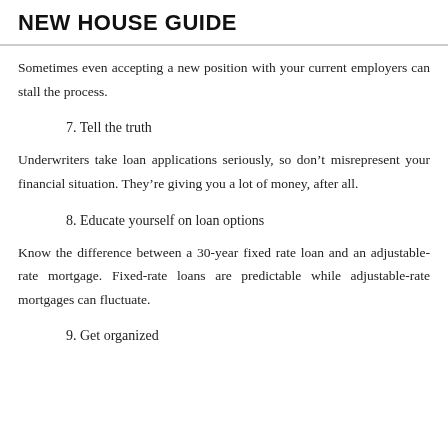NEW HOUSE GUIDE
Sometimes even accepting a new position with your current employers can stall the process.
7. Tell the truth
Underwriters take loan applications seriously, so don’t misrepresent your financial situation. They’re giving you a lot of money, after all.
8. Educate yourself on loan options
Know the difference between a 30-year fixed rate loan and an adjustable-rate mortgage. Fixed-rate loans are predictable while adjustable-rate mortgages can fluctuate.
9. Get organized